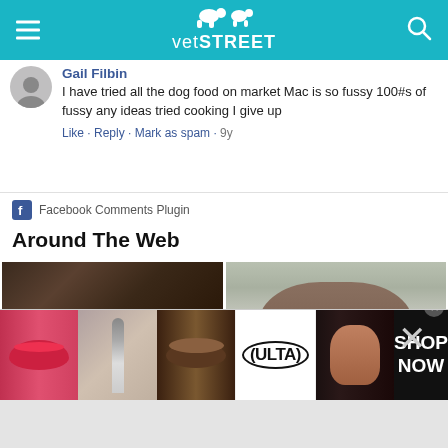[Figure (screenshot): VetStreet website header with teal background, hamburger menu icon on left, VetStreet logo with dog and cat silhouette in center, search icon on right]
Gail Filbin
I have tried all the dog food on market Mac is so fussy 100#s of fussy any ideas tried cooking I give up
Like · Reply · Mark as spam · 9y
Facebook Comments Plugin
Around The Web
[Figure (photo): Two thumbnail images side by side: left shows close-up of a man's forehead and hair, right shows a man with glasses in a light background]
This site uses cookies as described in our Cookie Policy. Please click
[Figure (screenshot): Ulta Beauty advertisement banner showing cosmetics images and SHOP NOW call to action]